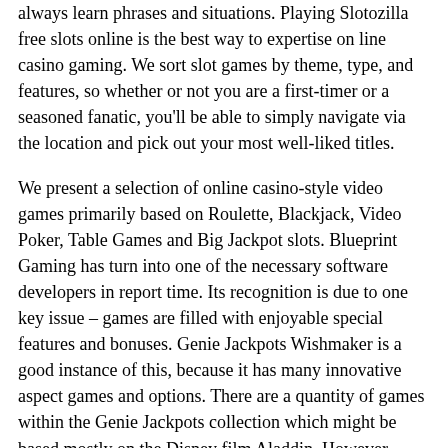always learn phrases and situations. Playing Slotozilla free slots online is the best way to expertise on line casino gaming. We sort slot games by theme, type, and features, so whether or not you are a first-timer or a seasoned fanatic, you'll be able to simply navigate via the location and pick out your most well-liked titles.
We present a selection of online casino-style video games primarily based on Roulette, Blackjack, Video Poker, Table Games and Big Jackpot slots. Blueprint Gaming has turn into one of the necessary software developers in report time. Its recognition is due to one key issue – games are filled with enjoyable special features and bonuses. Genie Jackpots Wishmaker is a good instance of this, because it has many innovative aspect games and options. There are a quantity of games within the Genie Jackpots collection which might be based mostly on the Disney film Aladdin. However, Wishmaker appears to be the best sport in the meanwhile.
You will discover the preferred free spins slot used is Starburst from Netent plus video games corresponding to Age of Gods or Rainbow Riches. Claiming a free spins bonus from our listing of recommended casinos is a straightforward process. In this text, we'll focus on the way it works free spins as a reference tool for interested gamers and often as a bonus feature to illustrate the point that…